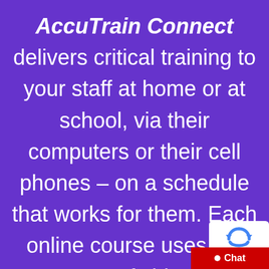AccuTrain Connect delivers critical training to your staff at home or at school, via their computers or their cell phones – on a schedule that works for them. Each online course uses the power of video to maximize learning impact. And the cloud-based, social-empowered AccuTrain Connect learning
[Figure (other): Chat widget in bottom-right corner with reCAPTCHA icon and red Chat button]